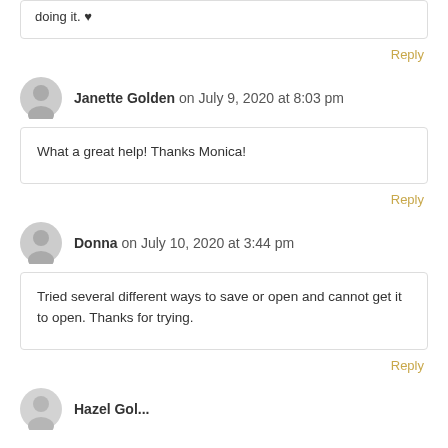doing it. ♥
Reply
Janette Golden on July 9, 2020 at 8:03 pm
What a great help! Thanks Monica!
Reply
Donna on July 10, 2020 at 3:44 pm
Tried several different ways to save or open and cannot get it to open. Thanks for trying.
Reply
Hazel Golden